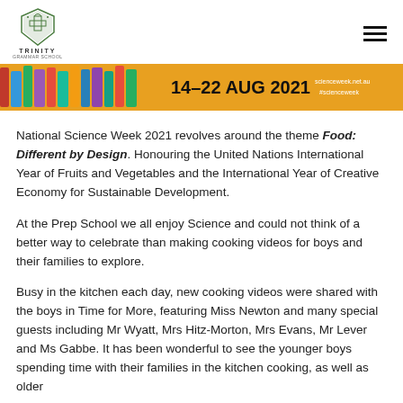Trinity Grammar School
[Figure (illustration): National Science Week 2021 banner showing colourful illustrated characters with text '14–22 AUG 2021' and 'scienceweek.net.au #scienceweek' on an orange background]
National Science Week 2021 revolves around the theme Food: Different by Design. Honouring the United Nations International Year of Fruits and Vegetables and the International Year of Creative Economy for Sustainable Development.
At the Prep School we all enjoy Science and could not think of a better way to celebrate than making cooking videos for boys and their families to explore.
Busy in the kitchen each day, new cooking videos were shared with the boys in Time for More, featuring Miss Newton and many special guests including Mr Wyatt, Mrs Hitz-Morton, Mrs Evans, Mr Lever and Ms Gabbe. It has been wonderful to see the younger boys spending time with their families in the kitchen cooking, as well as older